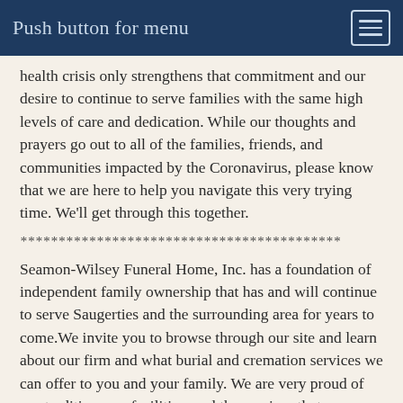Push button for menu
health crisis only strengthens that commitment and our desire to continue to serve families with the same high levels of care and dedication. While our thoughts and prayers go out to all of the families, friends, and communities impacted by the Coronavirus, please know that we are here to help you navigate this very trying time. We'll get through this together.
******************************************
Seamon-Wilsey Funeral Home, Inc. has a foundation of independent family ownership that has and will continue to serve Saugerties and the surrounding area for years to come.We invite you to browse through our site and learn about our firm and what burial and cremation services we can offer to you and your family. We are very proud of our tradition, our facilities, and the services that we provide. Please feel free to